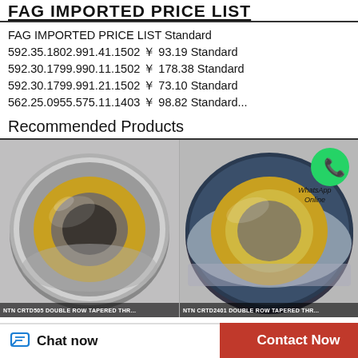FAG IMPORTED PRICE LIST
FAG IMPORTED PRICE LIST Standard 592.35.1802.991.41.1502 ￥ 93.19 Standard 592.30.1799.990.11.1502 ￥ 178.38 Standard 592.30.1799.991.21.1502 ￥ 73.10 Standard 562.25.0955.575.11.1403 ￥ 98.82 Standard...
Recommended Products
[Figure (photo): NTN CRTD505 double row tapered thrust bearing, silver/gold metallic, close-up product photo]
[Figure (photo): NTN CRTD2401 double row tapered thrust bearing, silver/blue/gold metallic, close-up product photo with WhatsApp Online badge]
Chat now   Contact Now